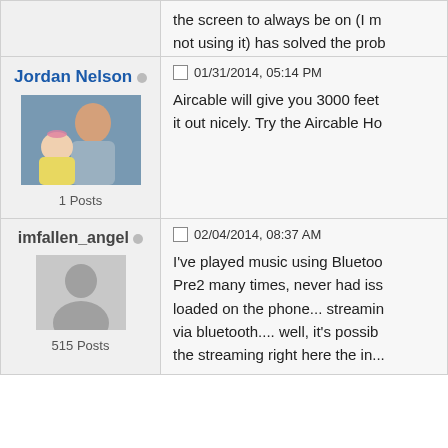the screen to always be on (I m... not using it) has solved the prob...
Jordan Nelson
[Figure (photo): Profile photo of Jordan Nelson holding a baby]
1 Posts
01/31/2014, 05:14 PM
Aircable will give you 3000 feet... it out nicely. Try the Aircable Ho...
imfallen_angel
[Figure (illustration): Generic avatar silhouette placeholder]
515 Posts
02/04/2014, 08:37 AM
I've played music using Bluetoo... Pre2 many times, never had iss... loaded on the phone... streamin... via bluetooth.... well, it's possib... the streaming right here the in...